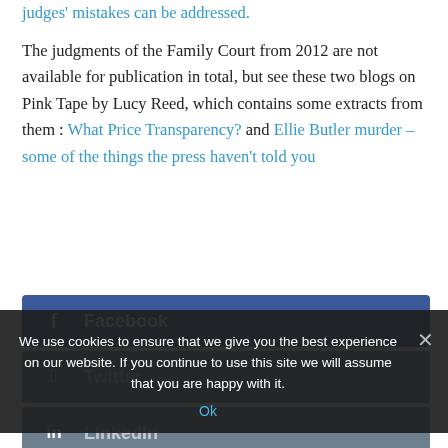judges' mistakes can be addressed.
The judgments of the Family Court from 2012 are not available for publication in total, but see these two blogs on Pink Tape by Lucy Reed, which contains some extracts from them : What Price Transparency? and Ellie Butler murder – some of the things the press haven't told you
[Figure (screenshot): Facebook share button - dark blue button with Facebook icon and label]
[Figure (screenshot): Twitter share button - greyed out button with Twitter icon]
[Figure (screenshot): LinkedIn share button - greyed out button with LinkedIn icon]
[Figure (screenshot): Google+ share button - red button partially visible]
We use cookies to ensure that we give you the best experience on our website. If you continue to use this site we will assume that you are happy with it. Ok